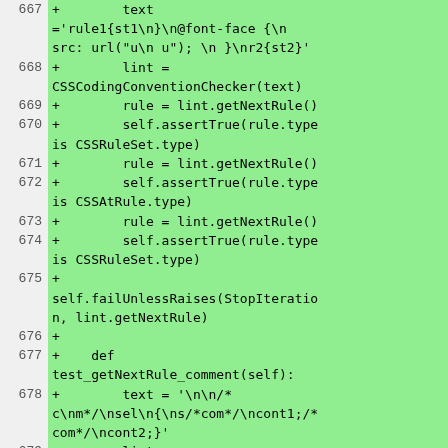[Figure (screenshot): Code diff showing lines 667-679 of a Python test file. All lines are additions (green background, marked with +). The code shows CSS coding convention checker test methods including test_getNextRule_comment.]